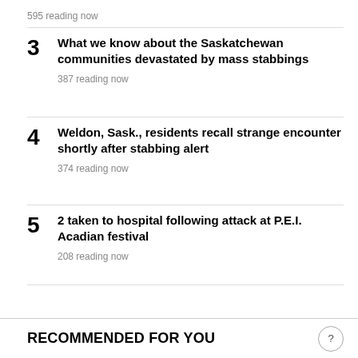595 reading now
3  What we know about the Saskatchewan communities devastated by mass stabbings  387 reading now
4  Weldon, Sask., residents recall strange encounter shortly after stabbing alert  374 reading now
5  2 taken to hospital following attack at P.E.I. Acadian festival  208 reading now
RECOMMENDED FOR YOU